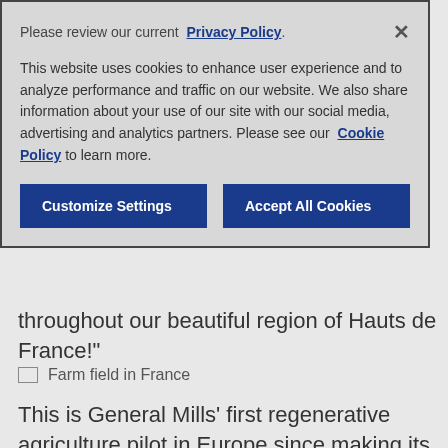Please review our current  Privacy Policy.
This website uses cookies to enhance user experience and to analyze performance and traffic on our website. We also share information about your use of our site with our social media, advertising and analytics partners. Please see our  Cookie Policy to learn more.
Customize Settings
Accept All Cookies
throughout our beautiful region of Hauts de France!"
[Figure (photo): Broken image placeholder with alt text: Farm field in France]
This is General Mills' first regenerative agriculture pilot in Europe since making its global